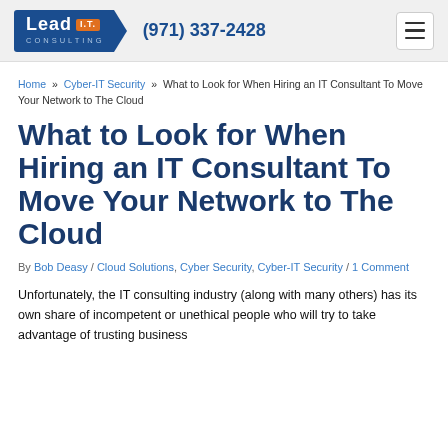Lead I.T. Consulting  (971) 337-2428
Home » Cyber-IT Security » What to Look for When Hiring an IT Consultant To Move Your Network to The Cloud
What to Look for When Hiring an IT Consultant To Move Your Network to The Cloud
By Bob Deasy / Cloud Solutions, Cyber Security, Cyber-IT Security / 1 Comment
Unfortunately, the IT consulting industry (along with many others) has its own share of incompetent or unethical people who will try to take advantage of trusting business